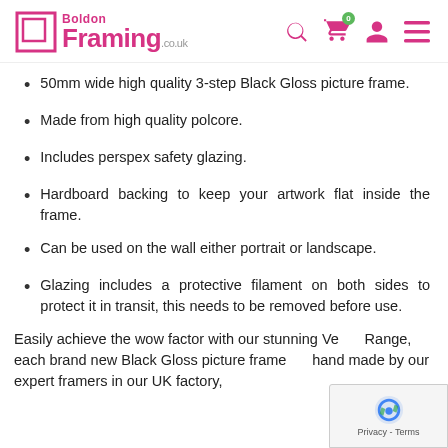Boldon Framing .co.uk
50mm wide high quality 3-step Black Gloss picture frame.
Made from high quality polcore.
Includes perspex safety glazing.
Hardboard backing to keep your artwork flat inside the frame.
Can be used on the wall either portrait or landscape.
Glazing includes a protective filament on both sides to protect it in transit, this needs to be removed before use.
Easily achieve the wow factor with our stunning Ve... Range, each brand new Black Gloss picture frame... hand made by our expert framers in our UK factory.